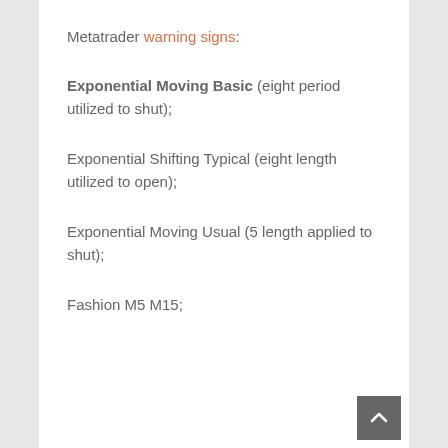Metatrader warning signs:
Exponential Moving Basic (eight period utilized to shut);
Exponential Shifting Typical (eight length utilized to open);
Exponential Moving Usual (5 length applied to shut);
Fashion M5 M15;